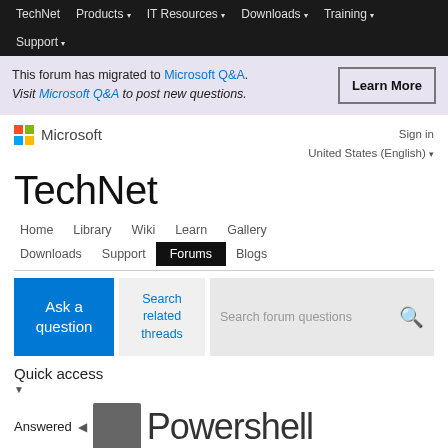TechNet  Products ▾  IT Resources ▾  Downloads ▾  Training ▾  Support ▾
This forum has migrated to Microsoft Q&A. Visit Microsoft Q&A to post new questions. [Learn More]
Microsoft TechNet
Home  Library  Wiki  Learn  Gallery  Downloads  Support  Forums  Blogs
Ask a question
Search related threads
Search forum questions
Quick access
Answered
Powershell